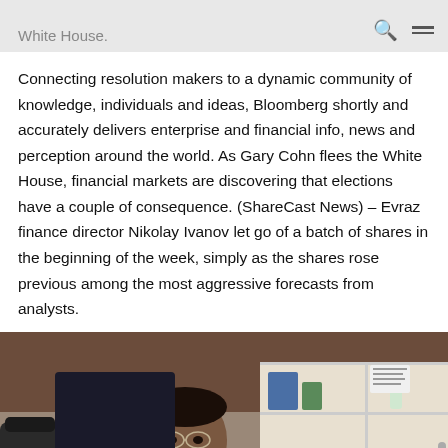White House.
Connecting resolution makers to a dynamic community of knowledge, individuals and ideas, Bloomberg shortly and accurately delivers enterprise and financial info, news and perception around the world. As Gary Cohn flees the White House, financial markets are discovering that elections have a couple of consequence. (ShareCast News) – Evraz finance director Nikolay Ivanov let go of a batch of shares in the beginning of the week, simply as the shares rose previous among the most aggressive forecasts from analysts.
[Figure (photo): A man in a white shirt seated at a desk in an office setting, with shelves and equipment visible in the background.]